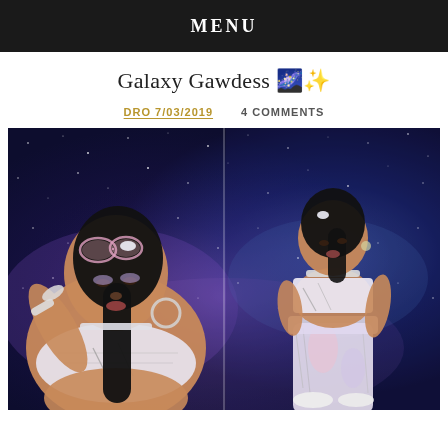MENU
Galaxy Gawdess 🌌✨
DRO 7/03/2019    4 COMMENTS
[Figure (photo): Fashion photo shoot with galaxy/space background. Left: close-up of a young woman wearing a white bandeau top, silver choker necklace, hoop earrings, silver bracelets, pink sunglasses pushed up on her head, posing with hand raised near face. Right: full-body shot of same woman wearing white bandeau top and tie-dye wide-leg pants, silver choker, hand on hip. Both against a deep blue/purple starry galaxy backdrop.]